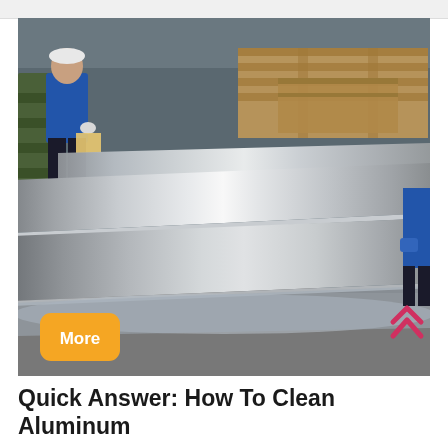[Figure (photo): Photograph of large aluminum sheets/plates stacked in an industrial warehouse. A worker in blue uniform stands on the left. The aluminum sheets are highly reflective and polished. Wooden pallets and green rolls visible in background. A yellow/orange 'More' button overlay appears in the lower left of the image.]
Quick Answer: How To Clean Aluminum